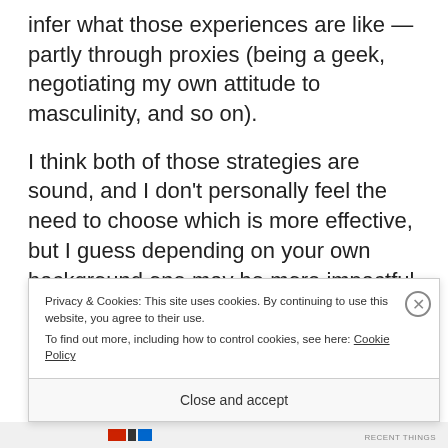infer what those experiences are like — partly through proxies (being a geek, negotiating my own attitude to masculinity, and so on).
I think both of those strategies are sound, and I don't personally feel the need to choose which is more effective, but I guess depending on your own background one may be more impactful than the other.
Privacy & Cookies: This site uses cookies. By continuing to use this website, you agree to their use. To find out more, including how to control cookies, see here: Cookie Policy
Close and accept